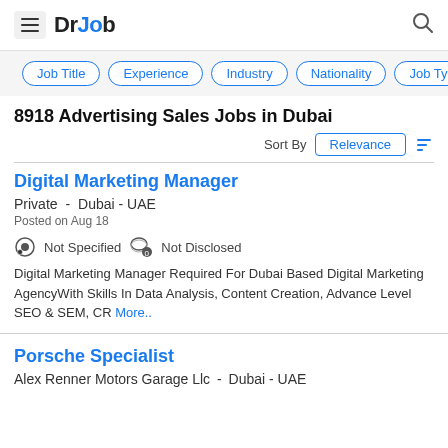DrJob
Job Title  Experience  Industry  Nationality  Job Type
8918 Advertising Sales Jobs in Dubai
Sort By  Relevance
Digital Marketing Manager
Private - Dubai - UAE
Posted on Aug 18
Not Specified   Not Disclosed
Digital Marketing Manager Required For Dubai Based Digital Marketing AgencyWith Skills In Data Analysis, Content Creation, Advance Level SEO & SEM, CR More..
Porsche Specialist
Alex Renner Motors Garage Llc - Dubai - UAE